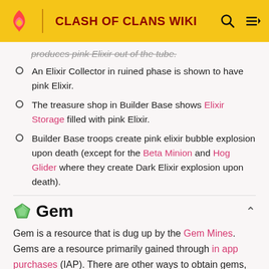CLASH OF CLANS WIKI
produces pink Elixir out of the tube.
An Elixir Collector in ruined phase is shown to have pink Elixir.
The treasure shop in Builder Base shows Elixir Storage filled with pink Elixir.
Builder Base troops create pink elixir bubble explosion upon death (except for the Beta Minion and Hog Glider where they create Dark Elixir explosion upon death).
Gem
Gem is a resource that is dug up by the Gem Mines. Gems are a resource primarily gained through in app purchases (IAP). There are other ways to obtain gems, although